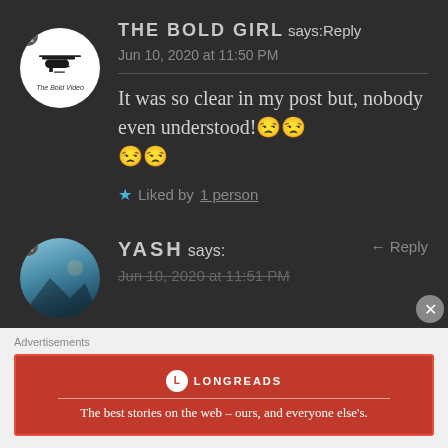THE BOLD GIRL says: Reply
Jun 10, 2020 at 11:50 PM
It was so clear in my post but, nobody even understood!😒😒😒😒
★ Liked by 1 person
YASH says: Reply
Jun 10, 2020 at 11:51 PM
[Figure (screenshot): Advertisement banner for Longreads: 'The best stories on the web – ours, and everyone else's.']